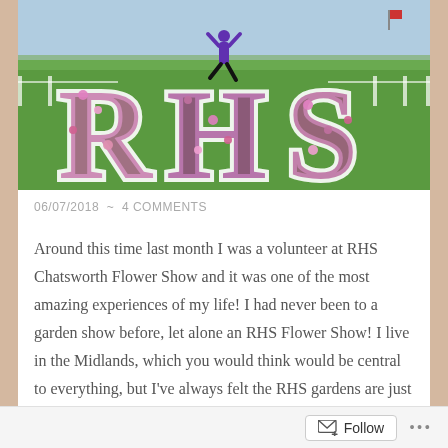[Figure (photo): A person jumping in front of large floral letter sculptures spelling 'RHS' on a grassy field at the RHS Chatsworth Flower Show. The letters are decorated with colorful flowers. The person is wearing a purple top and black trousers with arms outstretched.]
06/07/2018  ~  4 COMMENTS
Around this time last month I was a volunteer at RHS Chatsworth Flower Show and it was one of the most amazing experiences of my life! I had never been to a garden show before, let alone an RHS Flower Show! I live in the Midlands, which you would think would be central to everything, but I've always felt the RHS gardens are just a little bit out of reach for a day visit. When I saw that the RHS were advertising for volunteers for